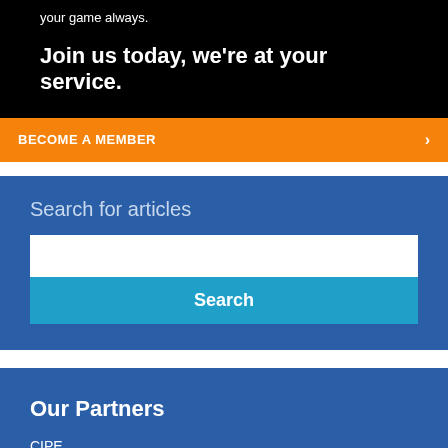your game always.
Join us today, we're at your service.
BECOME A MEMBER
Search for articles
Our Partners
CIPE
BAF
TMEA
British High Commission